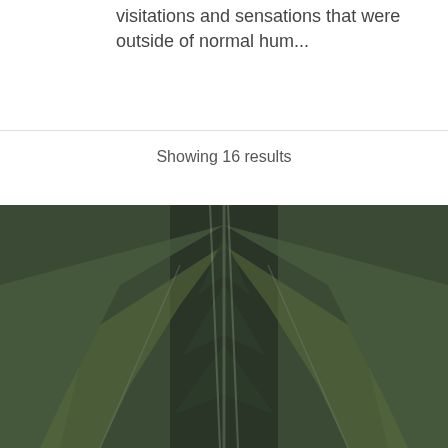visitations and sensations that were outside of normal hum...
Showing 16 results
[Figure (photo): A symmetrical, kaleidoscope-like photo of green foliage forming a wing or arrow shape against a dark blurred background. The image is tinted dark green and grey with a mirrored pattern.]
Join Our Community